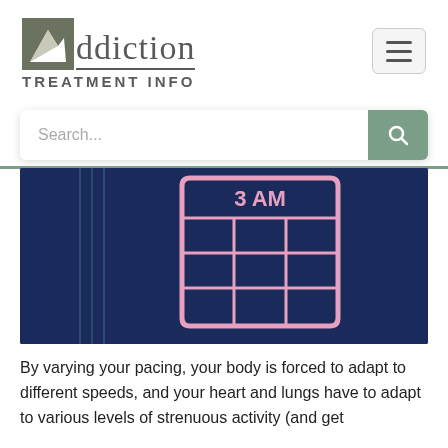Addiction Treatment Info — logo and navigation header
[Figure (screenshot): Partial illustration on dark navy background showing a pink grid/calendar-like shape with vertical blue lines on the left side]
By varying your pacing, your body is forced to adapt to different speeds, and your heart and lungs have to adapt to various levels of strenuous activity (and get